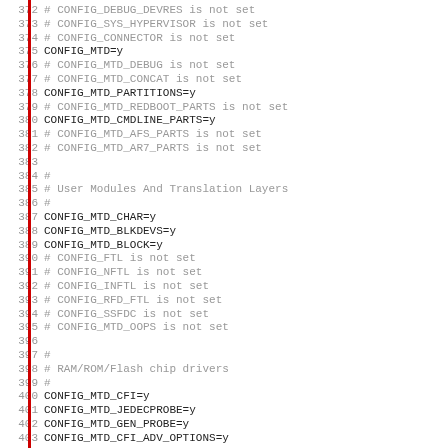372 # CONFIG_DEBUG_DEVRES is not set
373 # CONFIG_SYS_HYPERVISOR is not set
374 # CONFIG_CONNECTOR is not set
375 CONFIG_MTD=y
376 # CONFIG_MTD_DEBUG is not set
377 # CONFIG_MTD_CONCAT is not set
378 CONFIG_MTD_PARTITIONS=y
379 # CONFIG_MTD_REDBOOT_PARTS is not set
380 CONFIG_MTD_CMDLINE_PARTS=y
381 # CONFIG_MTD_AFS_PARTS is not set
382 # CONFIG_MTD_AR7_PARTS is not set
383
384 #
385 # User Modules And Translation Layers
386 #
387 CONFIG_MTD_CHAR=y
388 CONFIG_MTD_BLKDEVS=y
389 CONFIG_MTD_BLOCK=y
390 # CONFIG_FTL is not set
391 # CONFIG_NFTL is not set
392 # CONFIG_INFTL is not set
393 # CONFIG_RFD_FTL is not set
394 # CONFIG_SSFDC is not set
395 # CONFIG_MTD_OOPS is not set
396
397 #
398 # RAM/ROM/Flash chip drivers
399 #
400 CONFIG_MTD_CFI=y
401 CONFIG_MTD_JEDECPROBE=y
402 CONFIG_MTD_GEN_PROBE=y
403 CONFIG_MTD_CFI_ADV_OPTIONS=y